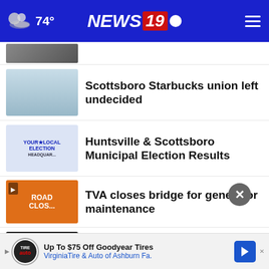74° NEWS 19
[Figure (screenshot): Thumbnail image of Starbucks store exterior]
Scottsboro Starbucks union left undecided
[Figure (screenshot): Election headquarters thumbnail]
Huntsville & Scottsboro Municipal Election Results
[Figure (screenshot): Road closed sign thumbnail with play button]
TVA closes bridge for generator maintenance
[Figure (screenshot): Parking deck thumbnail with play button]
City of Florence plans new parking deck
[Figure (screenshot): Baby ultrasound thumbnail with play button]
Alabama is the worst state to have a baby: WalletHub
Up To $75 Off Goodyear Tires VirginiaTire & Auto of Ashburn Fa.